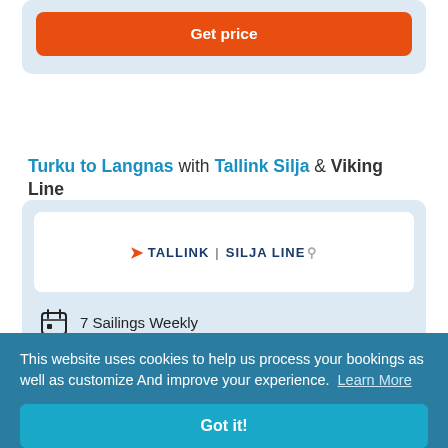[Figure (screenshot): Orange 'Get price' button at top of page inside a light blue card]
Turku to Langnas with Tallink Silja & Viking Line
[Figure (logo): Tallink Silja Line logo inside a white card within a light blue container card]
7 Sailings Weekly
4 hr 25 min
Get price
This website uses cookies to help us process your bookings as well as customize And improve your experience. Learn More
Got it!